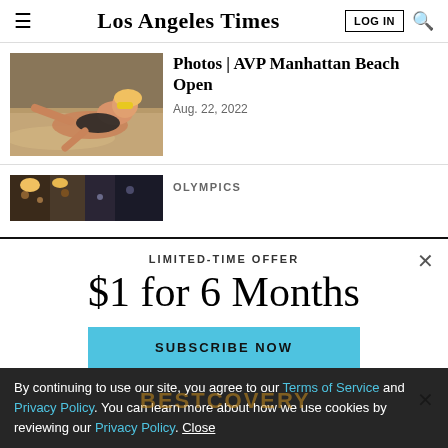Los Angeles Times | LOG IN | [search]
[Figure (photo): Beach volleyball player diving in sand with yellow sunglasses]
Photos | AVP Manhattan Beach Open
Aug. 22, 2022
[Figure (photo): Partially visible photo strip of crowd/event scene]
OLYMPICS
LIMITED-TIME OFFER
$1 for 6 Months
SUBSCRIBE NOW
By continuing to use our site, you agree to our Terms of Service and Privacy Policy. You can learn more about how we use cookies by reviewing our Privacy Policy. Close